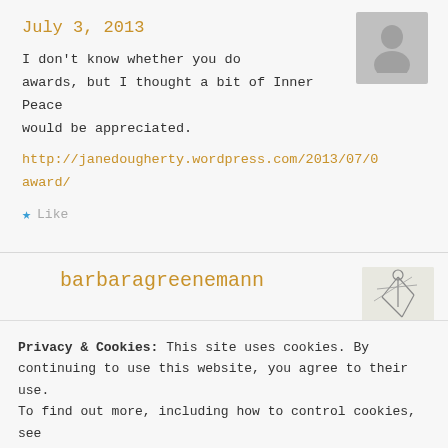July 3, 2013
I don't know whether you do awards, but I thought a bit of Inner Peace would be appreciated.
http://janedougherty.wordpress.com/2013/07/0 award/
★ Like
barbaragreenemann
Privacy & Cookies: This site uses cookies. By continuing to use this website, you agree to their use. To find out more, including how to control cookies, see here: Our Cookie Policy
Close and accept
everybody's there. b